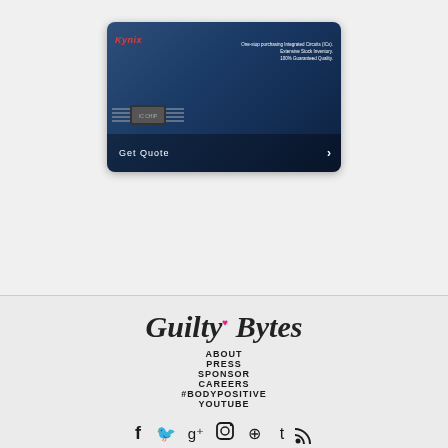[Figure (screenshot): Kynix advertisement card showing an integrated circuit chip on a blue gradient background. Text reads: 'One-stop purchasing Integrated Circuits (ICs). Extensive Stock Inventory. 100% Guaranteed Quality.' with a 'Get Quote' button and arrow.]
Guilty Bytes
ABOUT
PRESS
SPONSOR
CAREERS
#BODYPOSITIVE
YOUTUBE
[Figure (other): Row of social media icons: Facebook, Twitter, Google+, Instagram, Pinterest, Tumblr, RSS feed]